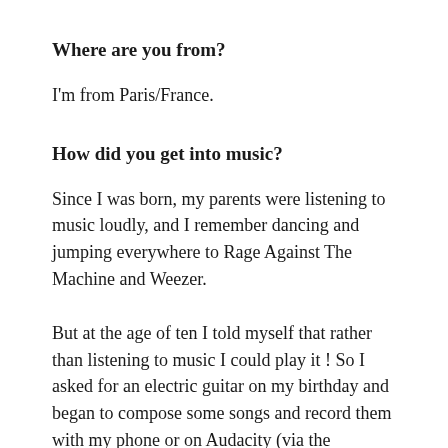Where are you from?
I'm from Paris/France.
How did you get into music?
Since I was born, my parents were listening to music loudly, and I remember dancing and jumping everywhere to Rage Against The Machine and Weezer.
But at the age of ten I told myself that rather than listening to music I could play it ! So I asked for an electric guitar on my birthday and began to compose some songs and record them with my phone or on Audacity (via the computer microphone...) After that I...